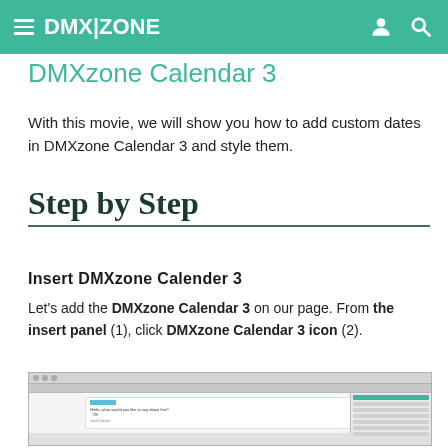DMX|ZONE
DMXzone Calendar 3
With this movie, we will show you how to add custom dates in DMXzone Calendar 3 and style them.
Step by Step
Insert DMXzone Calender 3
Let's add the DMXzone Calendar 3 on our page. From the insert panel (1), click DMXzone Calendar 3 icon (2).
[Figure (screenshot): Screenshot of a web development IDE (Dreamweaver) showing an insert panel on the right side and a dialog box in the main content area for inserting a DMXzone Calendar 3 component.]